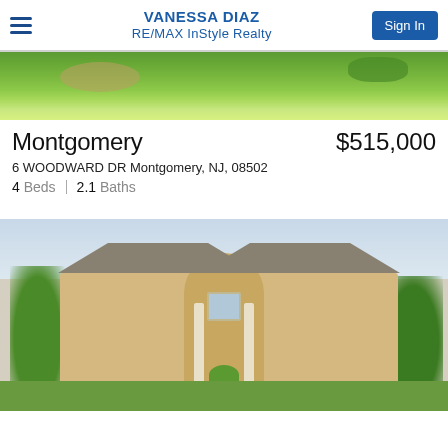VANESSA DIAZ RE/MAX InStyle Realty
[Figure (photo): Aerial view of green lawn and property landscaping]
Montgomery $515,000
6 WOODWARD DR Montgomery, NJ, 08502
4 Beds | 2.1 Baths
[Figure (photo): Exterior photo of a two-story colonial-style house with circular tower entry, columns, and surrounding trees]